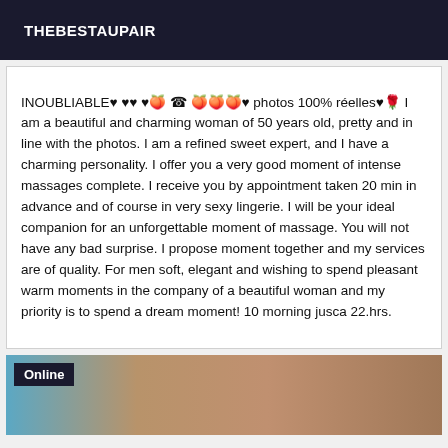THEBESTAUPAIR
INOUBLIABLE♥ ♥♥ ♥☎  photos 100% réelles♥ I am a beautiful and charming woman of 50 years old, pretty and in line with the photos. I am a refined sweet expert, and I have a charming personality. I offer you a very good moment of intense massages complete. I receive you by appointment taken 20 min in advance and of course in very sexy lingerie. I will be your ideal companion for an unforgettable moment of massage. You will not have any bad surprise. I propose moment together and my services are of quality. For men soft, elegant and wishing to spend pleasant warm moments in the company of a beautiful woman and my priority is to spend a dream moment! 10 morning jusca 22.hrs.
[Figure (photo): Partial photo of a person, with an 'Online' badge in the top-left corner. The image shows skin tones with a blue element visible on the left side.]